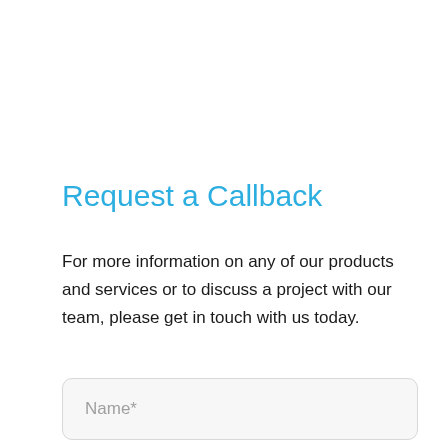Request a Callback
For more information on any of our products and services or to discuss a project with our team, please get in touch with us today.
Name*